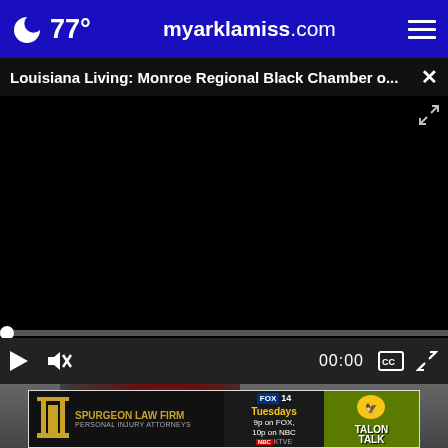77° myarklamiss.com
Louisiana Living: Monroe Regional Black Chamber o...
[Figure (screenshot): Black video player area with scrubber and controls showing 00:00 timestamp, play button, mute button, closed caption and fullscreen icons]
[Figure (photo): Partial photo of a football player in red helmet, partially visible at bottom of page]
[Figure (illustration): Advertisement banner: Spurgeon Law Firm Personal Injury Attorneys on the left, FOX 14 / NBC KTVE Tuesdays 9p on FOX 10p on NBC in the middle, Talon Talk on the right]